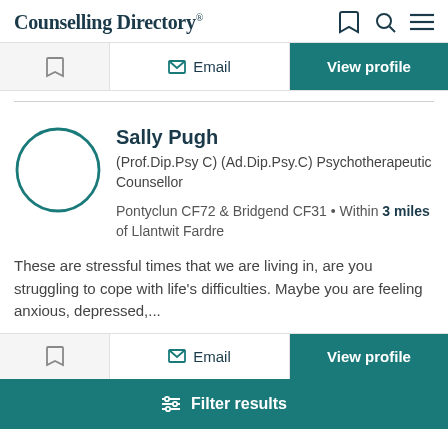Counselling Directory
Email
View profile
Sally Pugh
(Prof.Dip.Psy C) (Ad.Dip.Psy.C) Psychotherapeutic Counsellor
Pontyclun CF72 & Bridgend CF31 • Within 3 miles of Llantwit Fardre
These are stressful times that we are living in, are you struggling to cope with life's difficulties. Maybe you are feeling anxious, depressed,...
Email
View profile
Filter results